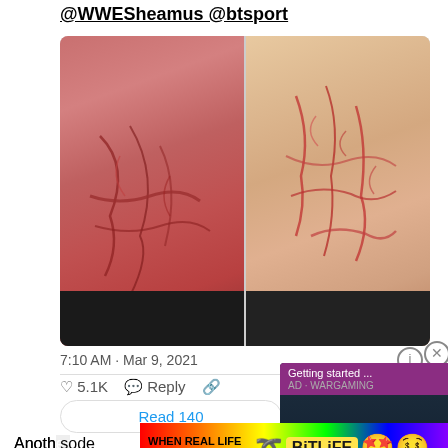@WWESheamus @btsport
[Figure (photo): Two side-by-side photos showing a man's back with red scratch/welt marks from a wrestling match]
7:10 AM · Mar 9, 2021
♡ 5.1K  Reply  🔗
Read 140
[Figure (screenshot): Getting started... video ad overlay for World of Tanks Getting Started in World of Tanks]
[Figure (screenshot): BitLife mobile app ad: WHEN REAL LIFE IS QUARANTINED - BitLife logo with emoji]
Anoth[er episode of RAW] ...sode of RAW [...] Sheamus in a no disqualification match. Near the end of the